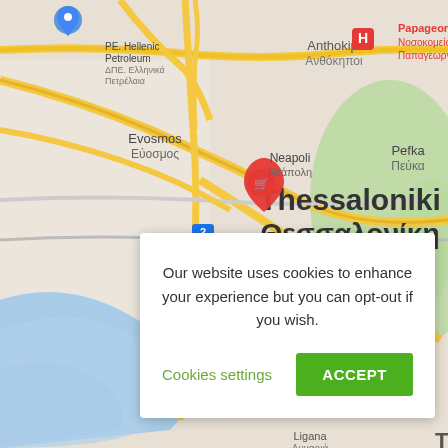[Figure (map): Google Maps screenshot showing Thessaloniki (Θεσσαλονίκη), Greece area with nearby districts: Anthokipi (Ανθόκηποι), Evosmos (Εύοσμος), Neapoli (Νεάπολη), Pefka (Πεύκα), Triandria (Τριανδρία). Labels visible include PE. Hellenic Petroleum, Papageorgiou Hospital (Νοσοκομείο Παπαγεωργίου), and a red shopping cart pin marker at the city center. Blue water (Gulf of Thessaloniki) visible in lower left, green hills in upper right.]
Our website uses cookies to enhance your experience but you can opt-out if you wish.
Cookies settings
ACCEPT